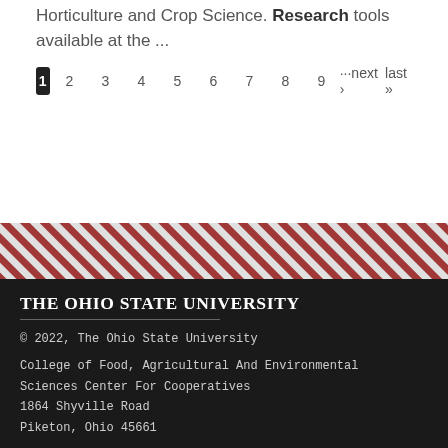Horticulture and Crop Science. Research tools available at the ...
1 2 3 4 5 6 7 8 9 ···next › last »
[Figure (illustration): Diagonal red and white striped decorative band]
THE OHIO STATE UNIVERSITY
© 2022, The Ohio State University
College of Food, Agricultural And Environmental Sciences Center For Cooperatives
1864 Shyville Road
Piketon, Ohio 45661